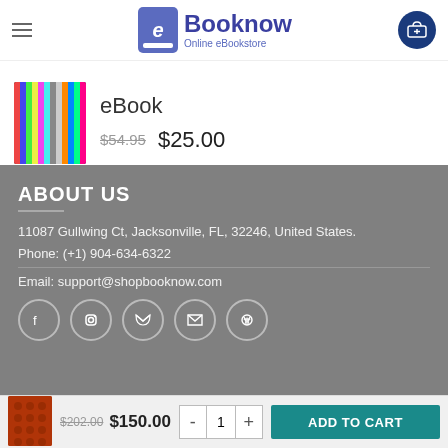Booknow Online eBookstore
eBook
$54.95  $25.00
ABOUT US
11087 Gullwing Ct, Jacksonville, FL, 32246, United States.
Phone: (+1) 904-634-6322
Email: support@shopbooknow.com
TERMS & POLICIES
$202.00  $150.00  -  1  +  ADD TO CART